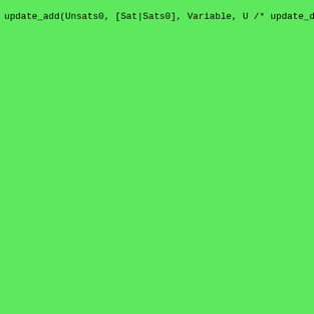update_add(Unsats0, [Sat|Sats0], Variable, U

/* update_discard(Sats0, Unsats0, Variables, S
/*    is the result of removing from Sats0 all
/*    the Variables, and Unsats is the result o
/*    constraints satisfied by the Variables.
/* e.g. update_discard([[1,2],[1,3],[1,4],[2,3
/*                       Sats, Unsats).
update_discard([], Unsats, _, [], Unsats).
update_discard([Unsat|Sats0], Unsats0, Variabl
    \+ ord_joint(Variables, Unsat), !,
    update_discard(Sats0, [Unsat|Unsats0], Varia
update_discard([Sat|Sats0], Unsats0, Variables
    update_discard(Sats0, Unsats0, Variables, Sa

/* discard(N, Vs0, Unsats0, Sats0, Vs, Unsats,
/*    maximum number of constraints to become u
/*    current list of assigned variables, Unsat
/*    unsatisfied constraints, Sats0 is the cur
/*    constraints, Vs is the new list of assign
/*    more discards, Unsats is the list of cons
/*    and Sats is the list of constraints satis
/* e.g. discard(4, [1,2,3], [], [[1,2],[1,3],[
/*                 Vs, Unsats, Sats).
discard(N, Vs0, Unsats0, Sats0, Vs, Unsats, Sa